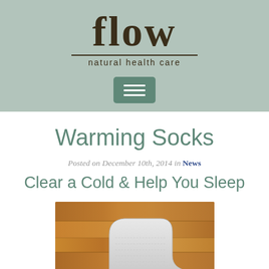[Figure (logo): Flow Natural Health Care logo with distressed serif font, horizontal rule, and subtitle text on sage green background]
[Figure (other): Hamburger menu button - three horizontal white bars on teal/sage rounded rectangle]
Warming Socks
Posted on December 10th, 2014 in News
Clear a Cold & Help You Sleep
[Figure (photo): Close-up photo of a white/light gray knitted sock on a wooden floor background]